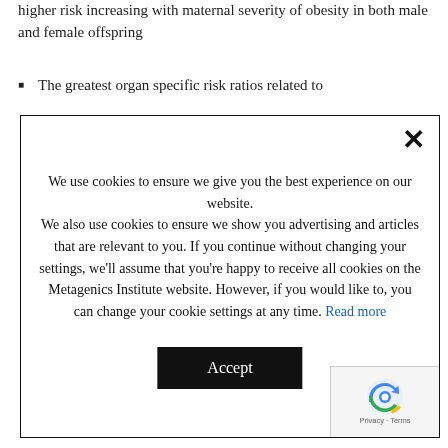higher risk increasing with maternal severity of obesity in both male and female offspring
The greatest organ specific risk ratios related to
We use cookies to ensure we give you the best experience on our website. We also use cookies to ensure we show you advertising and articles that are relevant to you. If you continue without changing your settings, we'll assume that you're happy to receive all cookies on the Metagenics Institute website. However, if you would like to, you can change your cookie settings at any time. Read more
Accept